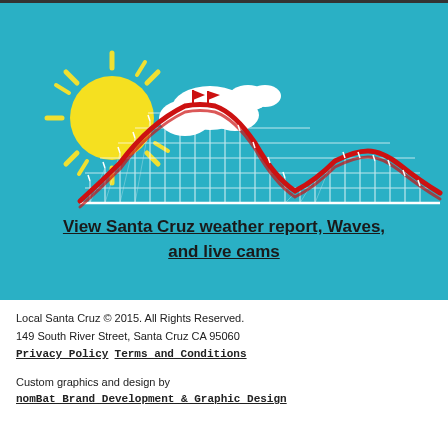[Figure (illustration): Teal background with a roller coaster illustration featuring a red coaster track with white structural framework, a yellow sun with rays in the upper left, and a white cloud. Two small red flags are visible at the top of the coaster hill.]
View Santa Cruz weather report, Waves, and live cams
Local Santa Cruz © 2015. All Rights Reserved.
149 South River Street, Santa Cruz CA 95060
Privacy Policy  Terms and Conditions
Custom graphics and design by
nomBat Brand Development & Graphic Design